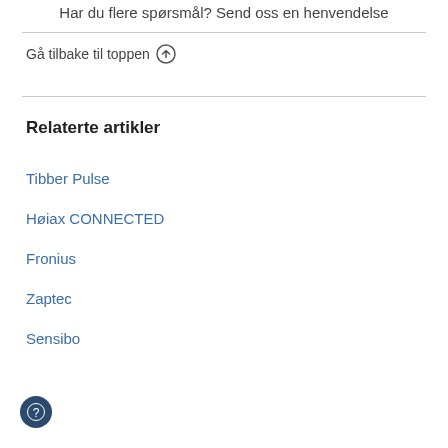Har du flere spørsmål? Send oss en henvendelse
Gå tilbake til toppen ↑
Relaterte artikler
Tibber Pulse
Høiax CONNECTED
Fronius
Zaptec
Sensibo